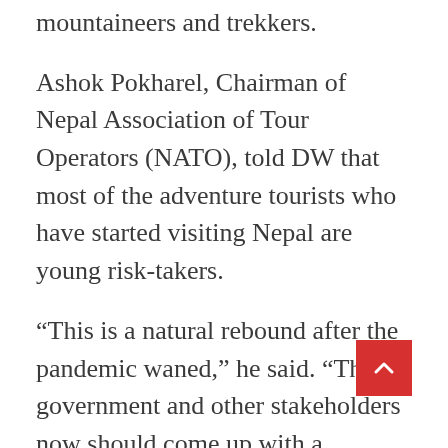mountaineers and trekkers.
Ashok Pokharel, Chairman of Nepal Association of Tour Operators (NATO), told DW that most of the adventure tourists who have started visiting Nepal are young risk-takers.
“This is a natural rebound after the pandemic waned,” he said. “The government and other stakeholders now should come up with a substantive plan as to how to restore the entire tourism and hospitality industry and sustain business.”
The NTB said most of the tourists are from India, the United States, the United Kingdom, Germany and France.
Before the pandemic, China was a major source of